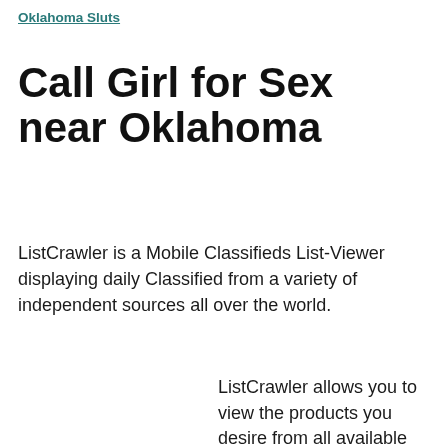Oklahoma Sluts
Call Girl for Sex near Oklahoma
ListCrawler is a Mobile Classifieds List-Viewer displaying daily Classified from a variety of independent sources all over the world.
ListCrawler allows you to view the products you desire from all available Lists. The Saved Posts are never stored on your deviceand do not